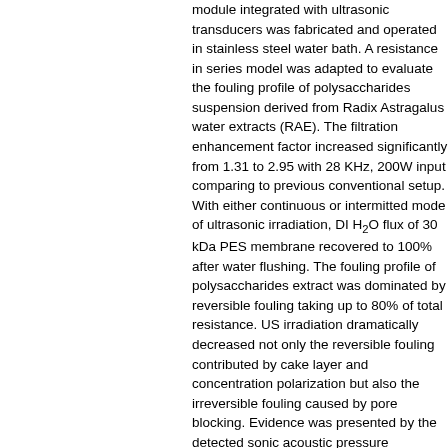module integrated with ultrasonic transducers was fabricated and operated in stainless steel water bath. A resistance in series model was adapted to evaluate the fouling profile of polysaccharides suspension derived from Radix Astragalus water extracts (RAE). The filtration enhancement factor increased significantly from 1.31 to 2.95 with 28 KHz, 200W input comparing to previous conventional setup. With either continuous or intermitted mode of ultrasonic irradiation, DI H₂O flux of 30 kDa PES membrane recovered to 100% after water flushing. The fouling profile of polysaccharides extract was dominated by reversible fouling taking up to 80% of total resistance. US irradiation dramatically decreased not only the reversible fouling contributed by cake layer and concentration polarization but also the irreversible fouling caused by pore blocking. Evidence was presented by the detected sonic acoustic pressure distribution inside the crossflow channel. The morphology of fouled membrane